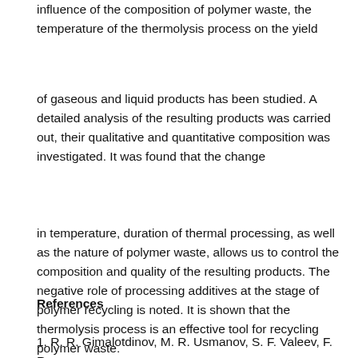influence of the composition of polymer waste, the temperature of the thermolysis process on the yield
of gaseous and liquid products has been studied. A detailed analysis of the resulting products was carried out, their qualitative and quantitative composition was investigated. It was found that the change
in temperature, duration of thermal processing, as well as the nature of polymer waste, allows us to control the composition and quality of the resulting products. The negative role of processing additives at the stage of polymer recycling is noted. It is shown that the thermolysis process is an effective tool for recycling polymer waste.
References
1. R. R. Gimalotdinov, M. R. Usmanov, S. F. Valeev, F. R.